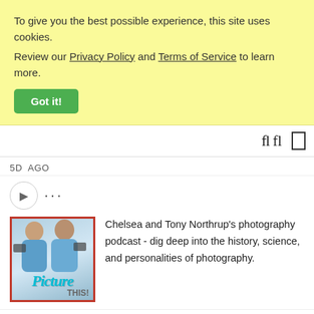To give you the best possible experience, this site uses cookies. Review our Privacy Policy and Terms of Service to learn more.
Got it!
5D  AGO
[Figure (screenshot): Avatar icon circle with ellipsis menu (three dots)]
[Figure (photo): Picture This podcast thumbnail showing Chelsea and Tony Northrup with cameras, with teal 'Picture THIS!' text overlay and red border]
Chelsea and Tony Northrup's photography podcast - dig deep into the history, science, and personalities of photography.
iFanboy - Comic Books
4M  AGO